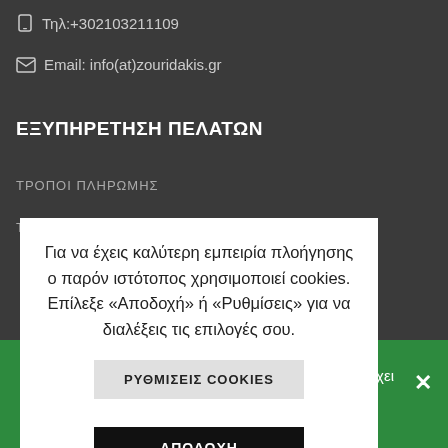Τηλ:+302103211109
Email: info(at)zouridakis.gr
ΕΞΥΠΗΡΕΤΗΣΗ ΠΕΛΑΤΩΝ
ΤΡΟΠΟΙ ΠΛΗΡΩΜΗΣ
ΤΡΟΠΟΙ ΑΠΟΣΤΟΛΗΣ
Για να έχεις καλύτερη εμπειρία πλοήγησης ο παρόν ιστότοπος χρησιμοποιεί cookies. Επίλεξε «Αποδοχή» ή «Ρυθμίσεις» για να διαλέξεις τις επιλογές σου.
ΡΥΘΜΙΣΕΙΣ COOKIES
ΑΠΟΔΟΧΗ
ο" έχει
×